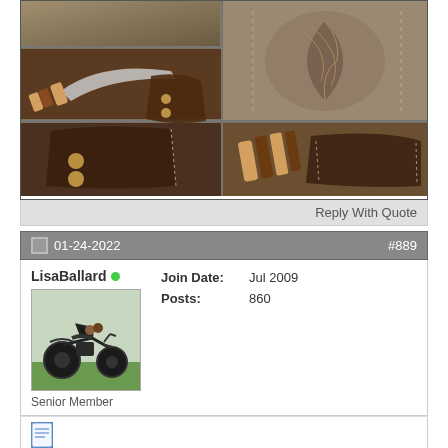[Figure (photo): Collage of four photos showing a handmade knife with wooden handle and leather sheath from multiple angles, on a wooden surface background]
Reply With Quote
01-24-2022  #889
LisaBallard
[Figure (photo): User avatar showing a motorcycle (chopper style) on grass]
Senior Member
Join Date: Jul 2009
Posts: 860
[Figure (illustration): Document/note icon for send message or view posts]